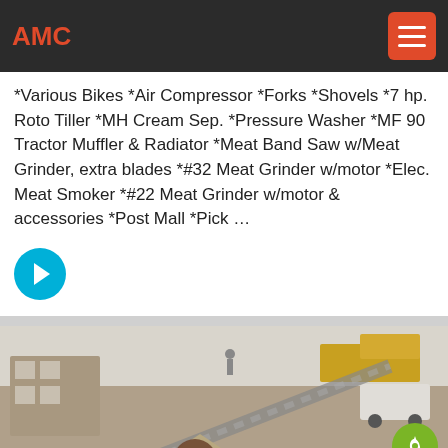AMC
*Various Bikes *Air Compressor *Forks *Shovels *7 hp. Roto Tiller *MH Cream Sep. *Pressure Washer *MF 90 Tractor Muffler & Radiator *Meat Band Saw w/Meat Grinder, extra blades *#32 Meat Grinder w/motor *Elec. Meat Smoker *#22 Meat Grinder w/motor & accessories *Post Mall *Pick ...
[Figure (other): Circular cyan arrow button pointing right]
[Figure (photo): Outdoor scene showing a construction or industrial site with machinery, structures, a conveyor belt, vehicles including a truck and van, and piles of material.]
email  onlineChat  message